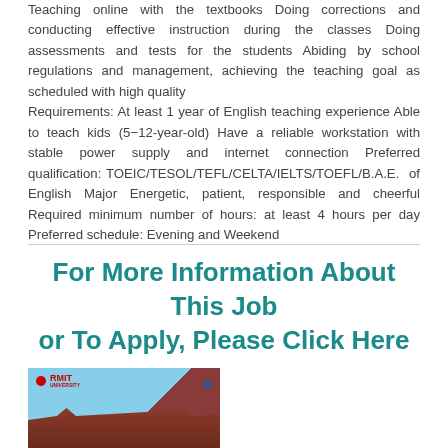Teaching online with the textbooks Doing corrections and conducting effective instruction during the classes Doing assessments and tests for the students Abiding by school regulations and management, achieving the teaching goal as scheduled with high quality
Requirements: At least 1 year of English teaching experience Able to teach kids (5–12-year-old) Have a reliable workstation with stable power supply and internet connection Preferred qualification: TOEIC/TESOL/TEFL/CELTA/IELTS/TOEFL/B.A.E. of English Major Energetic, patient, responsible and cheerful Required minimum number of hours: at least 4 hours per day Preferred schedule: Evening and Weekend
For More Information About This Job or To Apply, Please Click Here
[Figure (photo): RMIT University building photo with red brick architecture and blue sky, RMIT logo with red dot top left, blue plus icon top right]